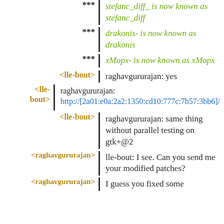*** stefanc_diff_ is now known as stefanc_diff
*** drakonis- is now known as drakonis
*** xMopx- is now known as xMopx
<lle-bout> raghavgururajan: yes
<lle-bout> raghavgururajan: http://[2a01:e0a:2a2:1350:cd10:777c:7b57:3bb6]/
<lle-bout> raghavgururajan: same thing without parallel testing on gtk+@2
<raghavgururajan> lle-bout: I see. Can you send me your modified patches?
<raghavgururajan> I guess you fixed some